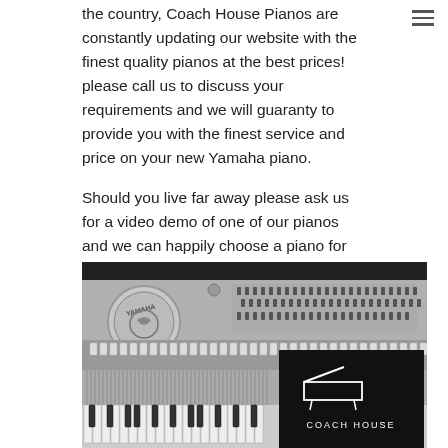the country, Coach House Pianos are constantly updating our website with the finest quality pianos at the best prices! please call us to discuss your requirements and we will guaranty to provide you with the finest service and price on your new Yamaha piano.
Should you live far away please ask us for a video demo of one of our pianos and we can happily choose a piano for you.
[Figure (photo): Black and white close-up photograph of the interior mechanics of a Yamaha upright piano showing tuning pins, hammers, strings, and keys. Overlaid in the lower right is the Coach House Pianos logo — a grand piano icon in white on a black background with the text COACH HOUSE below.]